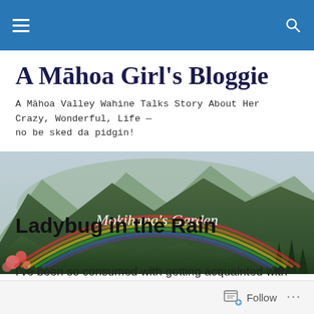Navigation bar with menu and search icons
A Māhoa Girl's Bloggie
A Māhoa Valley Wahine Talks Story About Her Crazy, Wonderful, Life — no be sked da pidgin!
[Figure (photo): Landscape photo of green mountains with a rainbow and the text 'Mokihana's Garden' overlaid in white italic font. Pink flowers visible at lower left.]
Ladybug in the Rain
I've been so consumed with getting acquainted with
Follow  ...